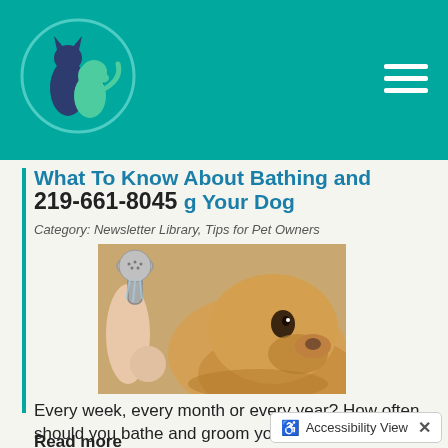[Figure (logo): McPheron Animal Clinic logo: circular design with silhouettes of a cat and dog in dark blue/teal on a teal background with a crescent/circle arc]
McPheron Animal Clinic
What To Know About Bathing and Grooming Your Dog
219-661-8045
Category: Newsletter Library, Tips for Pet Owners
[Figure (photo): A golden retriever dog being bathed with a handheld shower head, close-up of dog's face with wet fur]
Every week, every month or every year? How often should you bathe and groom your dog?
Read more